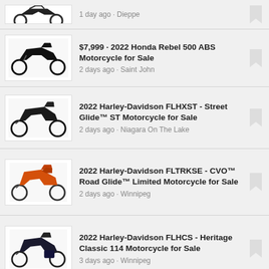1 day ago · Dieppe
$7,999 · 2022 Honda Rebel 500 ABS Motorcycle for Sale
2 days ago · Saint John
2022 Harley-Davidson FLHXST - Street Glide™ ST Motorcycle for Sale
2 days ago · Niagara On The Lake
2022 Harley-Davidson FLTRKSE - CVO™ Road Glide™ Limited Motorcycle for Sale
2 days ago · Winnipeg
2022 Harley-Davidson FLHCS - Heritage Classic 114 Motorcycle for Sale
3 days ago · Winnipeg
$21,500 · 2021 Custom UBILT Motorcycle for Sale
4 days ago · Calgary
$31,699 · 2023 Yamaha YZF-R1M Motorcycle for Sale